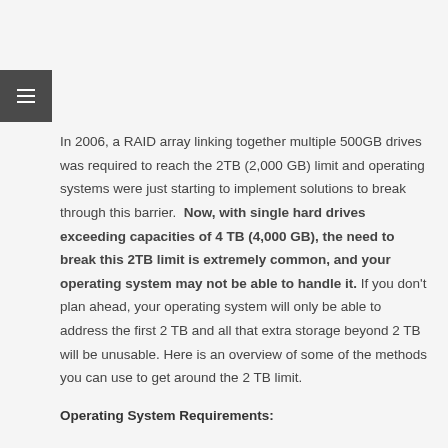In 2006, a RAID array linking together multiple 500GB drives was required to reach the 2TB (2,000 GB) limit and operating systems were just starting to implement solutions to break through this barrier. Now, with single hard drives exceeding capacities of 4 TB (4,000 GB), the need to break this 2TB limit is extremely common, and your operating system may not be able to handle it. If you don't plan ahead, your operating system will only be able to address the first 2 TB and all that extra storage beyond 2 TB will be unusable. Here is an overview of some of the methods you can use to get around the 2 TB limit.
Operating System Requirements: